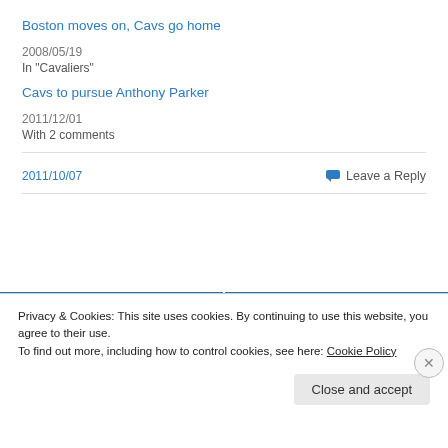Boston moves on, Cavs go home
2008/05/19
In "Cavaliers"
Cavs to pursue Anthony Parker
2011/12/01
With 2 comments
2011/10/07
Leave a Reply
« Previous
Next »
Privacy & Cookies: This site uses cookies. By continuing to use this website, you agree to their use.
To find out more, including how to control cookies, see here: Cookie Policy
Close and accept